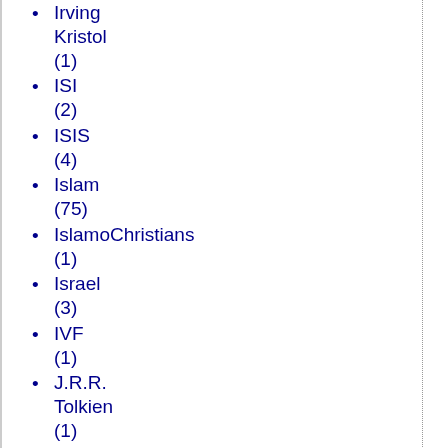Irving Kristol (1)
ISI (2)
ISIS (4)
Islam (75)
IslamoChristians (1)
Israel (3)
IVF (1)
J.R.R. Tolkien (1)
J.S. Mill (1)
Jack Cashill (1)
Jack